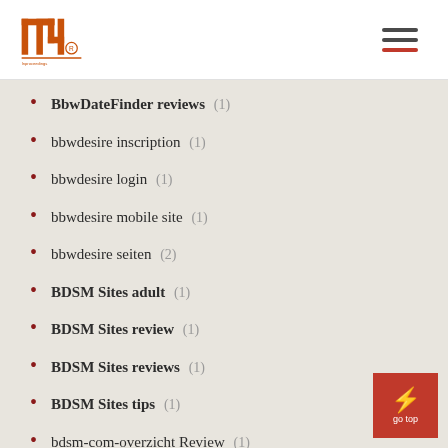INP logo and navigation
BbwDateFinder reviews (1)
bbwdesire inscription (1)
bbwdesire login (1)
bbwdesire mobile site (1)
bbwdesire seiten (2)
BDSM Sites adult (1)
BDSM Sites review (1)
BDSM Sites reviews (1)
BDSM Sites tips (1)
bdsm-com-overzicht Review (1)
bdsm-com-recenze recenzE (1)